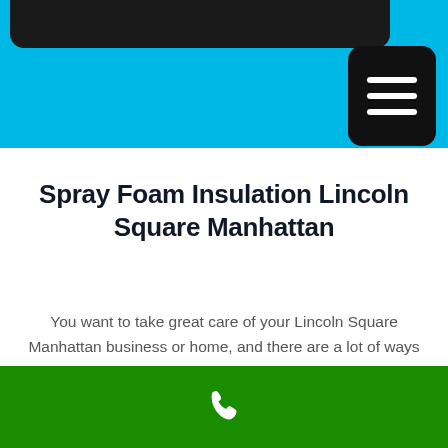[Figure (screenshot): Mobile website screenshot with blue header bar, dark image overlay at top, hamburger menu button]
Spray Foam Insulation Lincoln Square Manhattan
You want to take great care of your Lincoln Square Manhattan business or home, and there are a lot of ways you can do that. Among those is improving your insulation by working with Foam Insulation Solution. We can provide a spray foam insulation product that will help with keeping bugs and rodents out, lowering your energy bills, and making your building more sound proof. If you need
[Figure (other): Green footer bar with white phone icon]